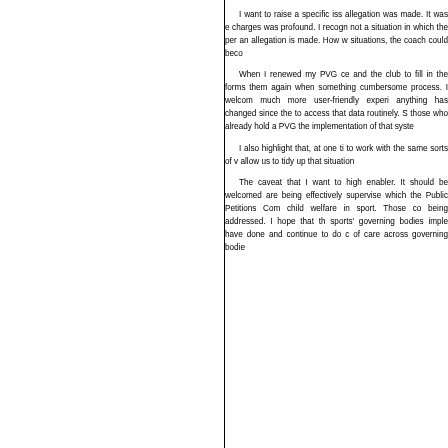I want to raise a specific iss allegation was made. It was e charges was profound. I recogn not a situation in which the per an allegation is made. How w situations, the coach could beco
When I renewed my PVG ce and the club to fill in the forms them again when something cumbersome process. I welcom much more user-friendly experi anything has changed since the to access that data routinely. S those who already hold a PVG the implementation of that syste
I also highlight that, at one ti to work with the same sorts of v allow us to tidy up that situation
The caveat that I want to high enabler. It should be welcomed are being effectively supervise which the Public Petitions Com child welfare in sport. Those co being addressed. I hope that th sports' governing bodies imple have done and continue to do c of care across governing bodie